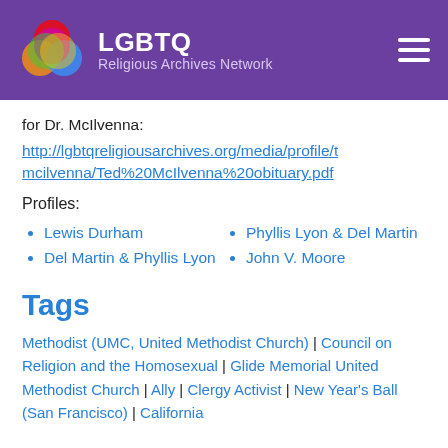LGBTQ Religious Archives Network
for Dr. McIlvenna:
http://lgbtqreligiousarchives.org/media/profile/tmcilvenna/Ted%20McIlvenna%20obituary.pdf
Profiles:
Lewis Durham
Del Martin & Phyllis Lyon
Phyllis Lyon & Del Martin
John V. Moore
Tags
Methodist (UMC, United Methodist Church) | Council on Religion and the Homosexual | Glide Memorial United Methodist Church | Ally | Clergy Activist | New Year's Ball (San Francisco) | California